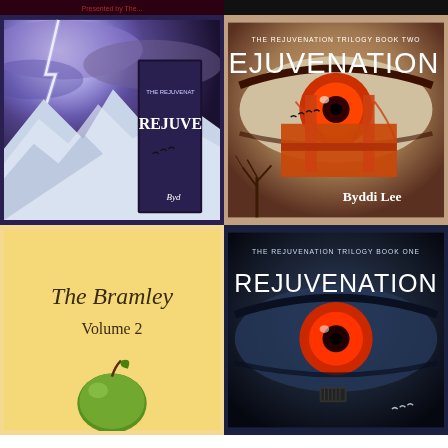[Figure (photo): Partial top strip showing cropped book covers — dark red/black on left, dark on right]
[Figure (photo): Book cover for Rejuvenation (first book in The Rejuvenation Trilogy), showing snowy mountains with lightning and a second book propped up, by Byddi Lee. Purple/blue storm clouds, dramatic lighting.]
[Figure (photo): Book cover for Rejuvenation 2 (The Rejuvenation Trilogy Book Two) by Byddi Lee. Close-up of a woman's eye with glowing red pupil overlaid with the Golden Gate Bridge, birds, and bare trees.]
[Figure (photo): Book cover for The Bramley Volume 2, yellow/cream background with serif italic title and a green apple at bottom.]
[Figure (photo): Book cover for Rejuvenation (The Rejuvenation Trilogy Book One), dark blue tones with close-up of an eye with a red glowing pupil and birds silhouetted.]